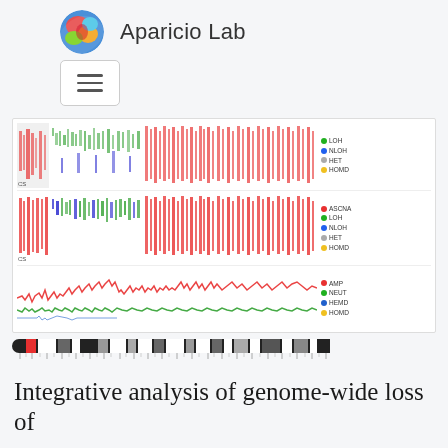Aparicio Lab
[Figure (illustration): Circular brain/genome logo with colorful heat-map pattern (blue, green, red, orange) shaped like a brain hemisphere]
[Figure (other): Hamburger menu button (three horizontal lines) inside a rounded rectangle border]
[Figure (other): Genomics data visualization showing three panels of copy number / LOH data across the genome with colored scatter plots (red, green, blue) and legends: Panel 1 - LOH, NLOH, HET, HOMD; Panel 2 - ASCNA, LOH, NLOH, HET, HOMD; Panel 3 - AMP, NEUT, HEMD, HOMD]
[Figure (other): Chromosome ideogram bar showing banding pattern in black, grey, and white segments with tick marks below]
Integrative analysis of genome-wide loss of